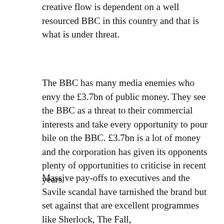creative flow is dependent on a well resourced BBC in this country and that is what is under threat.
The BBC has many media enemies who envy the £3.7bn of public money. They see the BBC as a threat to their commercial interests and take every opportunity to pour bile on the BBC. £3.7bn is a lot of money and the corporation has given its opponents plenty of opportunities to criticise in recent years.
Massive pay-offs to executives and the Savile scandal have tarnished the brand but set against that are excellent programmes like Sherlock, The Fall, Strictly Come Dancing, Radio 4 and much more.